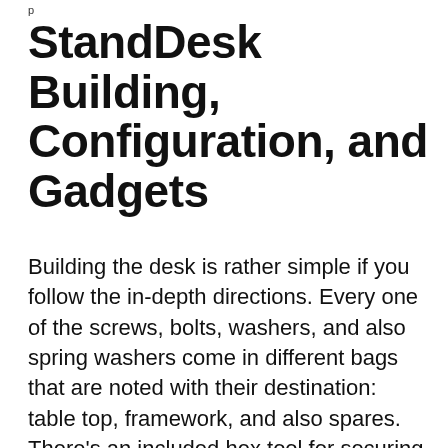p
StandDesk Building, Configuration, and Gadgets
Building the desk is rather simple if you follow the in-depth directions. Every one of the screws, bolts, washers, and also spring washers come in different bags that are noted with their destination: table top, framework, and also spares. There’s an included hex tool for securing all of the bolts right into the framework, or, pop in a hex bit right into your power tool– just beware not to over-tighten.